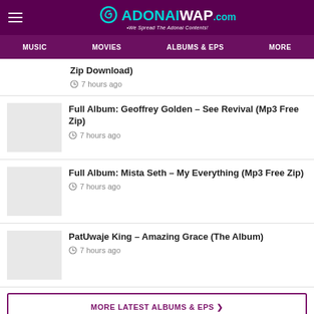ADONAIWAP.com — We Spread The Adonai Contents!
MUSIC  MOVIES  ALBUMS & EPS  MORE
Zip Download)
7 hours ago
Full Album: Geoffrey Golden – See Revival (Mp3 Free Zip)
7 hours ago
Full Album: Mista Seth – My Everything (Mp3 Free Zip)
7 hours ago
PatUwaje King – Amazing Grace (The Album)
7 hours ago
MORE LATEST ALBUMS & EPS >